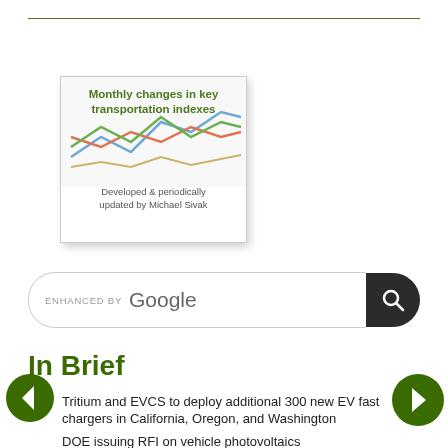[Figure (other): Thumbnail image card showing 'Monthly changes in key transportation indexes, Developed & periodically updated by Michael Sivak' with colorful line chart graphic in background]
[Figure (screenshot): Google enhanced search bar with search icon button]
In Brief
Tritium and EVCS to deploy additional 300 new EV fast chargers in California, Oregon, and Washington
DOE issuing RFI on vehicle photovoltaics